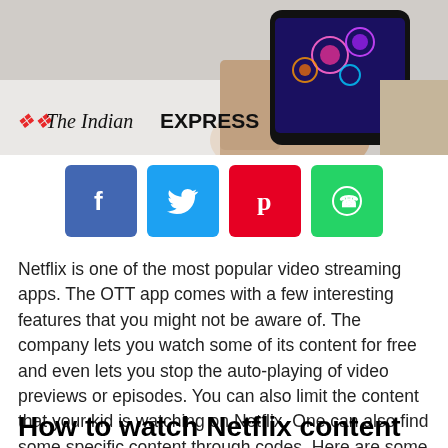[Figure (photo): A hand holding a smartphone showing fireworks on screen, with The Indian Express logo overlaid on the bottom left]
[Figure (infographic): Row of four social media share buttons: Facebook (blue), Twitter (light blue), Pinterest (red), WhatsApp (green)]
Netflix is one of the most popular video streaming apps. The OTT app comes with a few interesting features that you might not be aware of. The company lets you watch some of its content for free and even lets you stop the auto-playing of video previews or episodes. You can also limit the content that your kid is watching on Netflix. One can also find some specific content through codes. Here are some of the Netflix tips and tricks that you might want to know.
How to watch Netflix content for